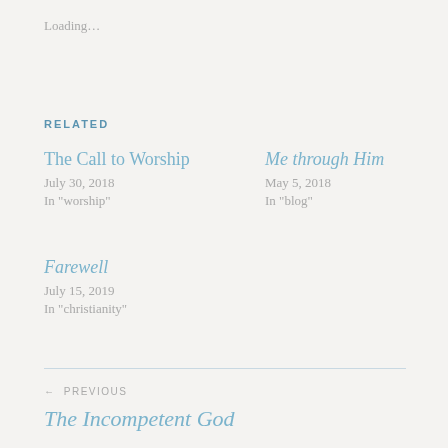Loading…
RELATED
The Call to Worship
July 30, 2018
In "worship"
Me through Him
May 5, 2018
In "blog"
Farewell
July 15, 2019
In "christianity"
← PREVIOUS
The Incompetent God